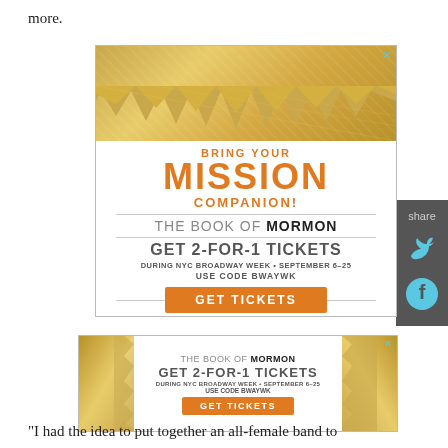more.
[Figure (illustration): Advertisement for The Book of Mormon Broadway show. Gold spiky burst background at top. Text reads: BRING YOUR MISSION COMPANION! THE BOOK OF MORMON. GET 2-FOR-1 TICKETS DURING NYC BROADWAY WEEK • SEPTEMBER 6-25. USE CODE BWAYWK. GET TICKETS button in orange.]
[Figure (illustration): Second advertisement banner for The Book of Mormon Broadway show with gold spiky sides. Text reads: THE BOOK OF MORMON. GET 2-FOR-1 TICKETS. DURING NYC BROADWAY WEEK • SEPTEMBER 6-25. USE CODE BWAYWK. GET TICKETS button in orange.]
"I had the idea to put together an all-female band to